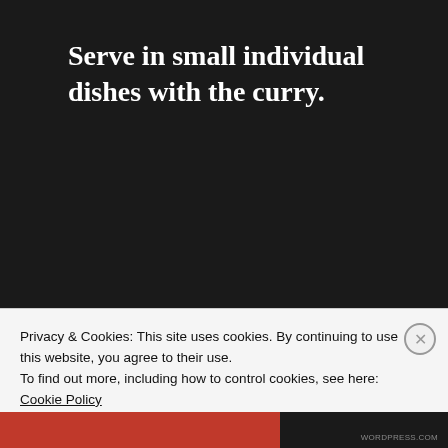Serve in small individual dishes with the curry.
RAITA
1 cup of Greek yogurt
Privacy & Cookies: This site uses cookies. By continuing to use this website, you agree to their use.
To find out more, including how to control cookies, see here: Cookie Policy
Close and accept